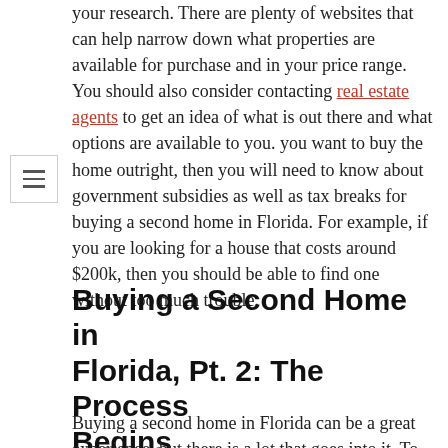your research. There are plenty of websites that can help narrow down what properties are available for purchase and in your price range. You should also consider contacting real estate agents to get an idea of what is out there and what options are available to you. you want to buy the home outright, then you will need to know about government subsidies as well as tax breaks for buying a second home in Florida. For example, if you are looking for a house that costs around $200k, then you should be able to find one without too much trouble.
Buying a Second Home in Florida, Pt. 2: The Process Begins
Buying a second home in Florida can be a great experience, but there is a lot that goes into it. To begin,